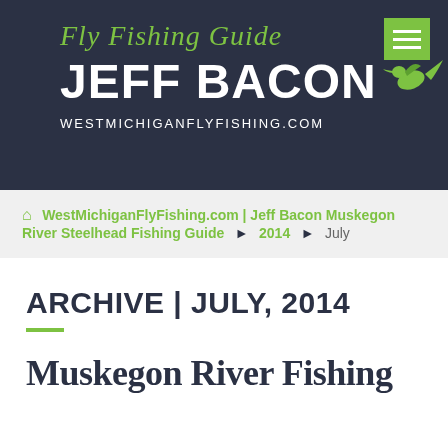Fly Fishing Guide JEFF BACON WESTMICHIGANFLYFISHING.COM
WestMichiganFlyFishing.com | Jeff Bacon Muskegon River Steelhead Fishing Guide > 2014 > July
ARCHIVE | JULY, 2014
Muskegon River Fishing